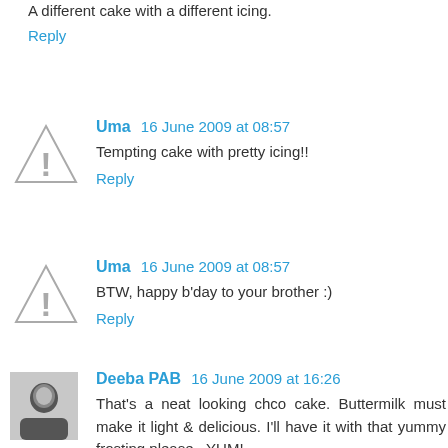A different cake with a different icing.
Reply
Uma  16 June 2009 at 08:57
Tempting cake with pretty icing!!
Reply
Uma  16 June 2009 at 08:57
BTW, happy b'day to your brother :)
Reply
Deeba PAB  16 June 2009 at 16:26
That's a neat looking chco cake. Buttermilk must make it light & delicious. I'll have it with that yummy frosting please...YUM!
Reply